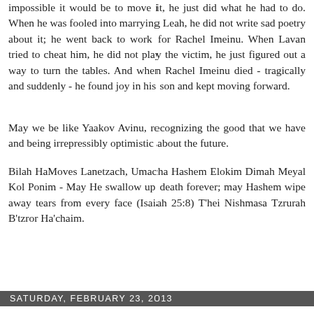impossible it would be to move it, he just did what he had to do. When he was fooled into marrying Leah, he did not write sad poetry about it; he went back to work for Rachel Imeinu. When Lavan tried to cheat him, he did not play the victim, he just figured out a way to turn the tables. And when Rachel Imeinu died - tragically and suddenly - he found joy in his son and kept moving forward.
May we be like Yaakov Avinu, recognizing the good that we have and being irrepressibly optimistic about the future.
Bilah HaMoves Lanetzach, Umacha Hashem Elokim Dimah Meyal Kol Ponim - May He swallow up death forever; may Hashem wipe away tears from every face (Isaiah 25:8) T'hei Nishmasa Tzrurah B'tzror Ha'chaim.
Daas Torah at 8:16 PM
Share
Saturday, February 23, 2013